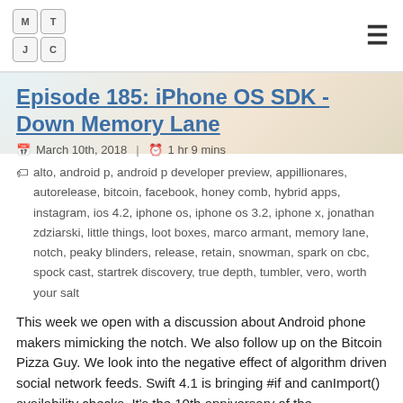MTC logo and hamburger menu
Episode 185: iPhone OS SDK - Down Memory Lane
March 10th, 2018 | 1 hr 9 mins
alto, android p, android p developer preview, appillionares, autorelease, bitcoin, facebook, honey comb, hybrid apps, instagram, ios 4.2, iphone os, iphone os 3.2, iphone x, jonathan zdziarski, little things, loot boxes, marco armant, memory lane, notch, peaky blinders, release, retain, snowman, spark on cbc, spock cast, startrek discovery, true depth, tumbler, vero, worth your salt
This week we open with a discussion about Android phone makers mimicking the notch. We also follow up on the Bitcoin Pizza Guy. We look into the negative effect of algorithm driven social network feeds. Swift 4.1 is bringing #if and canImport() availability checks. It's the 10th anniversary of the